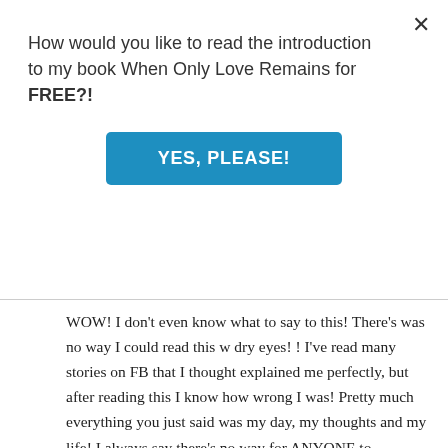How would you like to read the introduction to my book When Only Love Remains for FREE?!
[Figure (other): Blue call-to-action button labeled YES, PLEASE!]
WOW! I don't even know what to say to this! There's was no way I could read this w dry eyes! ! I've read many stories on FB that I thought explained me perfectly, but after reading this I know how wrong I was! Pretty much everything you just said was my day, my thoughts and my life! I always say there's no way for ANYONE to understand this horrible disease until it has effected their life in some way! It obviously has yours and for that I am so sorry! Your story is my story! You